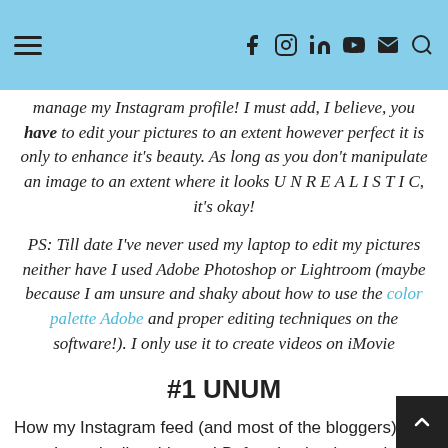Navigation bar with hamburger menu and social icons (Facebook, Instagram, LinkedIn, YouTube, Email, Search)
manage my Instagram profile! I must add, I believe, you have to edit your pictures to an extent however perfect it is only to enhance it's beauty. As long as you don't manipulate an image to an extent where it looks U N R E A L I S T I C, it's okay!
PS: Till date I've never used my laptop to edit my pictures neither have I used Adobe Photoshop or Lightroom (maybe because I am unsure and shaky about how to use the color palette Adobe and proper editing techniques on the software!). I only use it to create videos on iMovie
#1 UNUM
How my Instagram feed (and most of the bloggers) looks now. I owe it all to this app! Before I upload any picture